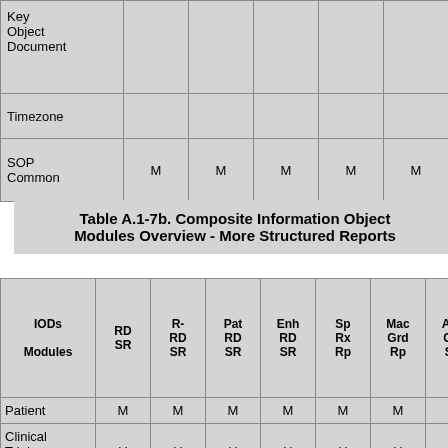|  |  |  |  |  |  |  |
| --- | --- | --- | --- | --- | --- | --- |
| Key Object Document |  |  |  |  |  | M |  |
| Timezone |  |  |  |  |  |  |  |
| SOP Common | M | M | M | M | M | M |  |
Table A.1-7b. Composite Information Object Modules Overview - More Structured Reports
| IODs Modules | RD SR | R-RD SR | Pat RD SR | Enh RD SR | Sp Rx Rp | Mac Grd Rp | Acq Ctx SR | Simp Card Echo SR |
| --- | --- | --- | --- | --- | --- | --- | --- | --- |
| Patient | M | M | M | M | M | M | M | M |
| Clinical Trial Subject | U | U | U | U | U | U | U | U |